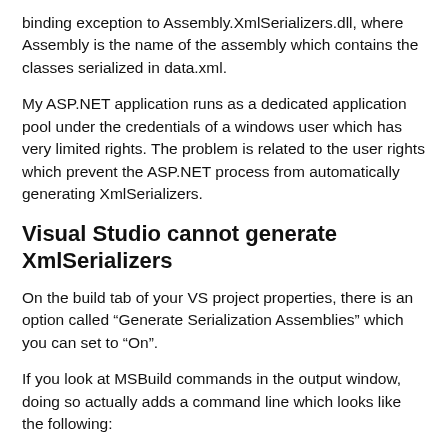binding exception to Assembly.XmlSerializers.dll, where Assembly is the name of the assembly which contains the classes serialized in data.xml.
My ASP.NET application runs as a dedicated application pool under the credentials of a windows user which has very limited rights. The problem is related to the user rights which prevent the ASP.NET process from automatically generating XmlSerializers.
Visual Studio cannot generate XmlSerializers
On the build tab of your VS project properties, there is an option called “Generate Serialization Assemblies” which you can set to “On”.
If you look at MSBuild commands in the output window, doing so actually adds a command line which looks like the following:
C:\Program Files\Microsoft Visual Studio